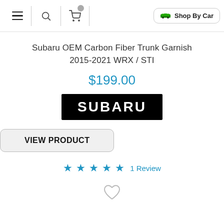Navigation bar with menu, search, cart, and Shop By Car button
Subaru OEM Carbon Fiber Trunk Garnish 2015-2021 WRX / STI
$199.00
[Figure (logo): Subaru brand logo — white text 'SUBARU' on black rectangle background]
VIEW PRODUCT
★★★★★ 1 Review
[Figure (illustration): Heart/wishlist outline icon]